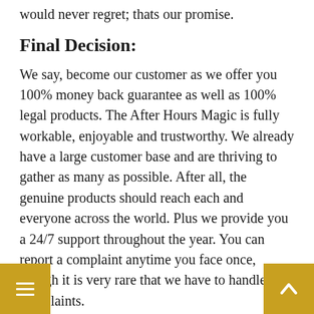would never regret; thats our promise.
Final Decision:
We say, become our customer as we offer you 100% money back guarantee as well as 100% legal products. The After Hours Magic is fully workable, enjoyable and trustworthy. We already have a large customer base and are thriving to gather as many as possible. After all, the genuine products should reach each and everyone across the world. Plus we provide you a 24/7 support throughout the year. You can report a complaint anytime you face once, though it is very rare that we have to handle complaints.
You can also get a trial version for a period of 60 days. So just go ahead, you are now aware what all After Hours Magic is. You can trust After